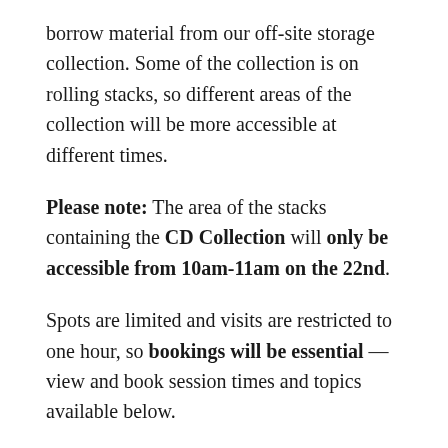borrow material from our off-site storage collection. Some of the collection is on rolling stacks, so different areas of the collection will be more accessible at different times.
Please note: The area of the stacks containing the CD Collection will only be accessible from 10am-11am on the 22nd.
Spots are limited and visits are restricted to one hour, so bookings will be essential — view and book session times and topics available below.
Times and topics
As well as our music collection, these areas are